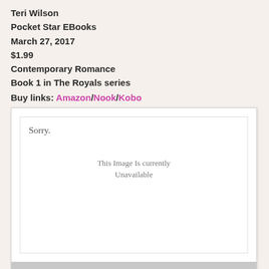Teri Wilson
Pocket Star EBooks
March 27, 2017
$1.99
Contemporary Romance
Book 1 in The Royals series
Buy links: Amazon/Nook/Kobo
[Figure (photo): Photobucket placeholder image showing 'Sorry. This Image Is currently Unavailable' with Photobucket logo at the bottom.]
Overview:
In this enchanting retelling of the classic Audrey Hepburn film Roman Holiday, a royal prince tries to escape his hectic and rigid life and ends up leading a young graduate student on a chase through the Eternal City.
Julia Costa is too busy trying to complete her PhD while also holding down a full-time job as a private tour guide in Rome to keep up with celebrity gossip. So when she crosses paths